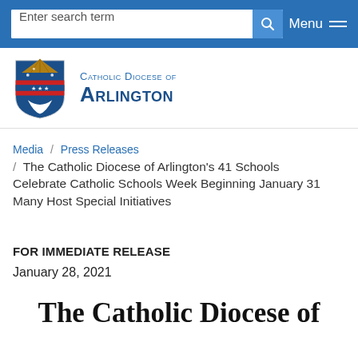Enter search term  Menu
[Figure (logo): Catholic Diocese of Arlington shield logo with text 'CATHOLIC DIOCESE OF ARLINGTON']
Media / Press Releases / The Catholic Diocese of Arlington's 41 Schools Celebrate Catholic Schools Week Beginning January 31 Many Host Special Initiatives
FOR IMMEDIATE RELEASE
January 28, 2021
The Catholic Diocese of